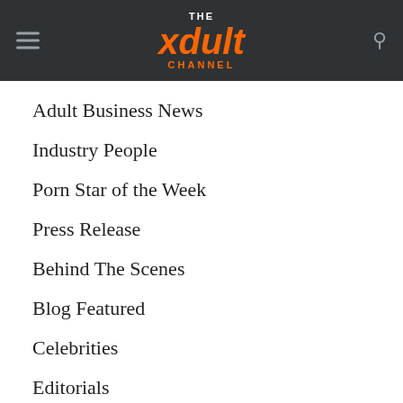THE xdult CHANNEL
Adult Business News
Industry People
Porn Star of the Week
Press Release
Behind The Scenes
Blog Featured
Celebrities
Editorials
Fan Submissions
Awards
Featured
Gossip